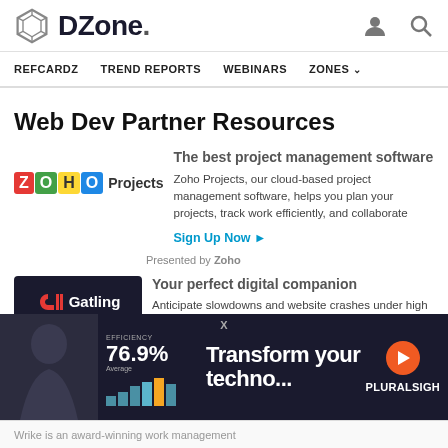DZone. | REFCARDZ | TREND REPORTS | WEBINARS | ZONES
Web Dev Partner Resources
The best project management software
Zoho Projects, our cloud-based project management software, helps you plan your projects, track work efficiently, and collaborate
Sign Up Now ►
Presented by Zoho
Your perfect digital companion
Anticipate slowdowns and website crashes under high traffic, start load testing with
[Figure (screenshot): Pluralsight advertisement banner with text 'Transform your techno...' showing a woman, efficiency stat 76.9% Average, and Pluralsight logo]
Wrike is an award-winning work management